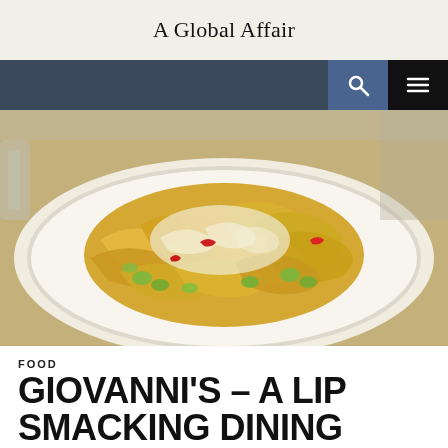A Global Affair
[Figure (photo): A white bowl of wide ribbon pasta (pappardelle) tossed with green vegetables, red chili pieces, and topped with grated Parmesan cheese, photographed from above on a white plate against a restaurant table setting.]
FOOD
GIOVANNI'S – A LIP SMACKING DINING